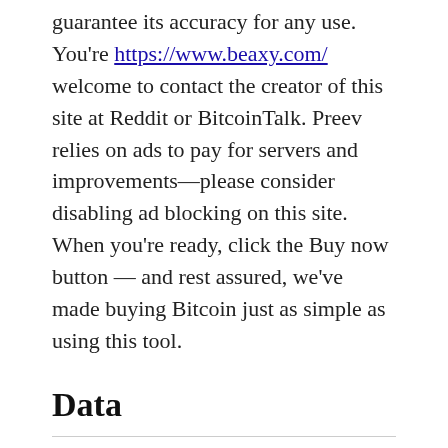guarantee its accuracy for any use. You're https://www.beaxy.com/ welcome to contact the creator of this site at Reddit or BitcoinTalk. Preev relies on ads to pay for servers and improvements—please consider disabling ad blocking on this site. When you're ready, click the Buy now button — and rest assured, we've made buying Bitcoin just as simple as using this tool.
Data
Finally, no article can summarize your potential mining profits. It's highly